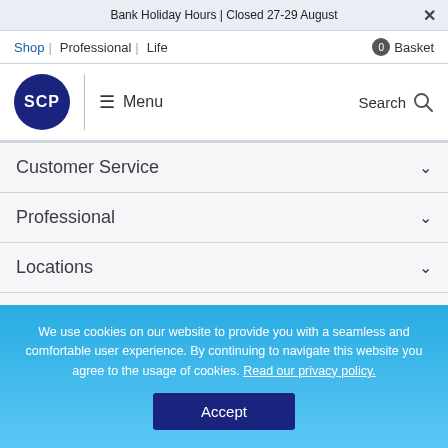Bank Holiday Hours | Closed 27-29 August
Shop | Professional | Life   0 Basket
[Figure (logo): SCP circular blue logo with white text]
☰ Menu   Search
Customer Service
Professional
Locations
Contact Us
SCP Newsletter
We use cookies on our website to provide you with a seamless and comfortable user experience. By continuing to navigate this website you agree to the usage of cookies. Read our privacy policy.
Accept